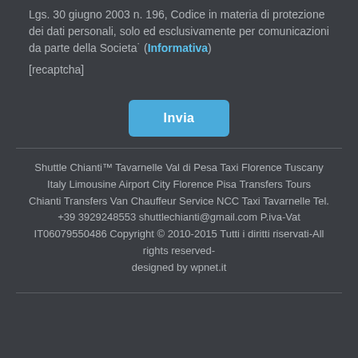Lgs. 30 giugno 2003 n. 196, Codice in materia di protezione dei dati personali, solo ed esclusivamente per comunicazioni da parte della Societa˙ (Informativa)
[recaptcha]
[Figure (other): Blue 'Invia' submit button centered on page]
Shuttle Chianti™ Tavarnelle Val di Pesa Taxi Florence Tuscany Italy Limousine Airport City Florence Pisa Transfers Tours Chianti Transfers Van Chauffeur Service NCC Taxi Tavarnelle Tel. +39 3929248553 shuttlechianti@gmail.com P.iva-Vat IT06079550486 Copyright © 2010-2015 Tutti i diritti riservati-All rights reserved- designed by wpnet.it